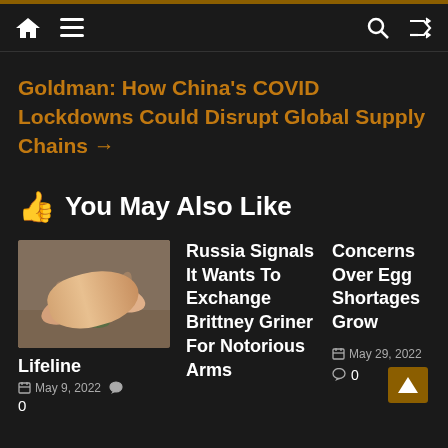Navigation bar with home, menu, search, and shuffle icons
Goldman: How China's COVID Lockdowns Could Disrupt Global Supply Chains →
👍 You May Also Like
[Figure (photo): Photo of two hands reaching toward each other]
Lifeline
May 9, 2022   0
Russia Signals It Wants To Exchange Brittney Griner For Notorious Arms
Concerns Over Egg Shortages Grow
May 29, 2022   0